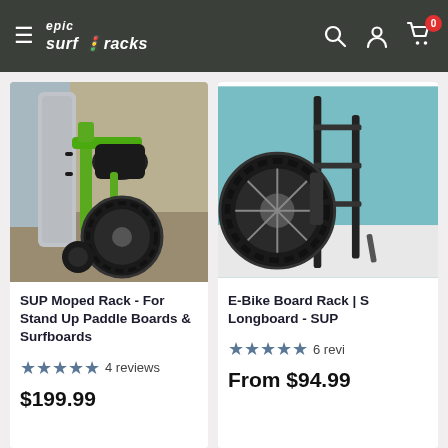epic surf racks — navigation header with hamburger menu, search, account, and cart (0 items)
[Figure (photo): Photo of SUP Moped Rack holding a surfboard/paddleboard on a green moped, large tire visible, outdoor setting on pavement]
SUP Moped Rack - For Stand Up Paddle Boards & Surfboards
★★★★★ 4 reviews
$199.99
[Figure (photo): Photo of E-Bike Board Rack | Longboard - SUP, showing bicycle wheel and rack structure, teal wall background]
E-Bike Board Rack | S... Longboard - SUP
★★★★★ 6 revi...
From $94.99